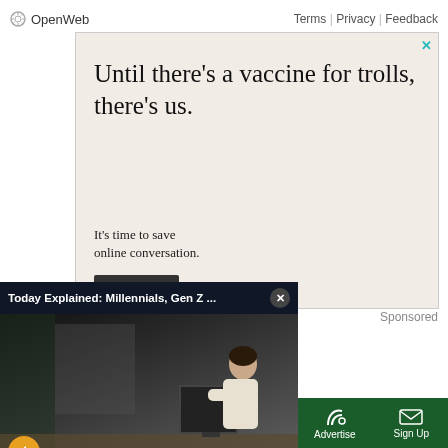OpenWeb  Terms | Privacy | Feedback
[Figure (screenshot): Advertisement banner with light beige/pink background. Large serif text reads: Until there’s a vaccine for trolls, there’s us. Smaller text: It’s time to save online conversation. Dark button below. Close X button top right. Sponsored label below.]
[Figure (screenshot): Video popup overlay titled 'Today Explained: Millennials, Gen Z ...' with close button. Shows a person sitting at a computer desk in an office setting. Yellow mute button in bottom left corner.]
Sponsored
The New York (partial, cut off)
Sections | NY Edition | Philly | Games | Advertise | Sign Up